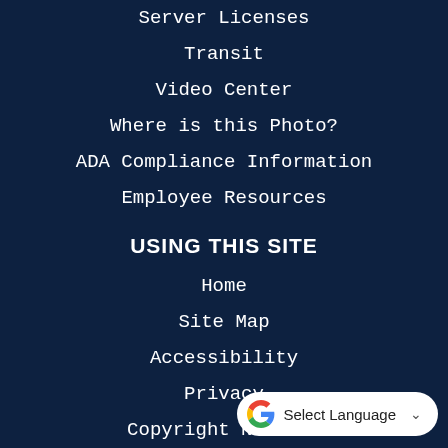Server Licenses
Transit
Video Center
Where is this Photo?
ADA Compliance Information
Employee Resources
USING THIS SITE
Home
Site Map
Accessibility
Privacy
Copyright Notices
[Figure (other): Google Translate 'Select Language' button with Google G logo and dropdown caret]